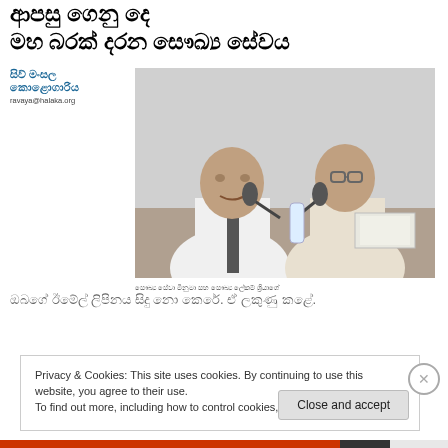ආපසු ගෙනු දෙ
මහ බරක් දරන සෞඛ්‍ය සේවය
[Figure (photo): Black and white photograph of two men seated at a table with microphones, appearing to be at a press conference or official meeting. The man on the left wears a white shirt and dark tie; the man on the right wears light clothing and glasses.]
සෞඛ්‍ය සේවා මිනුමා සහ සෞඛ්‍ය ලේකම් ශ්‍රියාගේ
ඔබගේ ඊමේල් ලිපිනය සිදු නො කෙරේ. ඒ ලකුණු කළේ.
http://ravaya.lk/?p=17269
Privacy & Cookies: This site uses cookies. By continuing to use this website, you agree to their use.
To find out more, including how to control cookies, see here: Cookie Policy
Close and accept